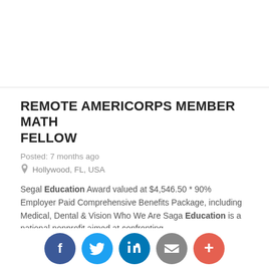REMOTE AMERICORPS MEMBER MATH FELLOW
Posted: 7 months ago
Hollywood, FL, USA
Segal Education Award valued at $4,546.50 * 90% Employer Paid Comprehensive Benefits Package, including Medical, Dental & Vision Who We Are Saga Education is a national nonprofit aimed at confronting ...
Industry: Science
Hiring Company: Saga Education